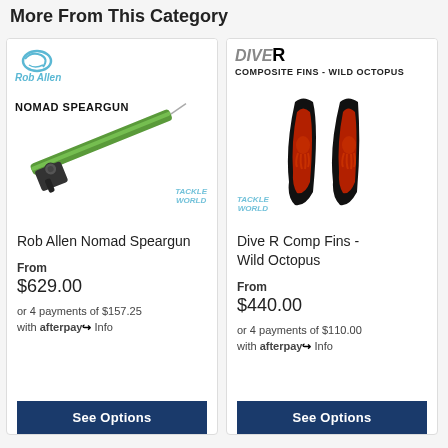More From This Category
[Figure (photo): Product card for Rob Allen Nomad Speargun showing the speargun diagonally with Rob Allen logo and Tackle World watermark]
Rob Allen Nomad Speargun
From
$629.00
or 4 payments of $157.25 with afterpay Info
[Figure (photo): Product card for Dive R Comp Fins Wild Octopus showing two black fins with red octopus design and Tackle World watermark]
Dive R Comp Fins - Wild Octopus
From
$440.00
or 4 payments of $110.00 with afterpay Info